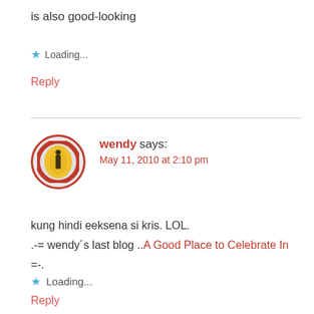is also good-looking
★ Loading...
Reply
wendy says:
May 11, 2010 at 2:10 pm
[Figure (photo): Avatar of commenter wendy: person standing inside a yellow circular tube with red border]
kung hindi eeksena si kris. LOL.
.-= wendy´s last blog ..A Good Place to Celebrate In =-..
★ Loading...
Reply